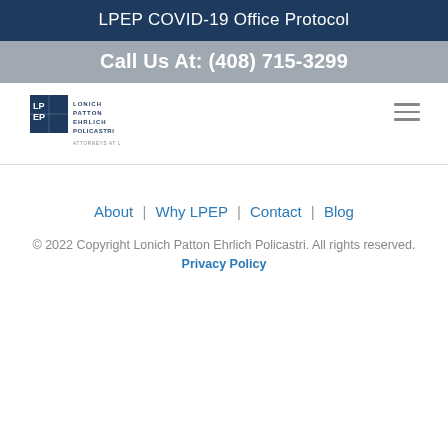LPEP COVID-19 Office Protocol
Call Us At: (408) 715-3299
[Figure (logo): LPEP Lonich Patton Ehrlich Policastri Attorneys at Law logo]
About | Why LPEP | Contact | Blog
© 2022 Copyright Lonich Patton Ehrlich Policastri. All rights reserved. Privacy Policy